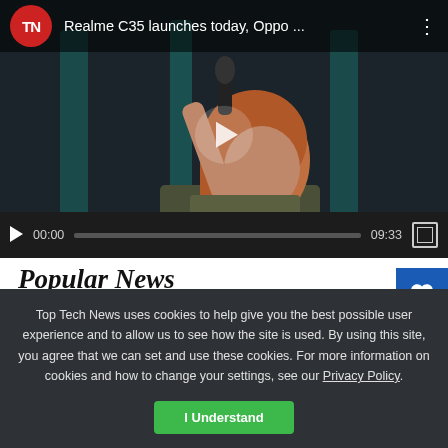[Figure (screenshot): Embedded video player showing a woman with red hair holding a microphone in dim lighting. Header shows TN logo and title 'Realme C35 launches today, Oppo ...' with a three-dot menu. Controls show play button, time 00:00, progress bar, duration 09:33, and fullscreen button.]
Popular News
Top Tech News uses cookies to help give you the best possible user experience and to allow us to see how the site is used. By using this site, you agree that we can set and use these cookies. For more information on cookies and how to change your settings, see our Privacy Policy.
I Understand